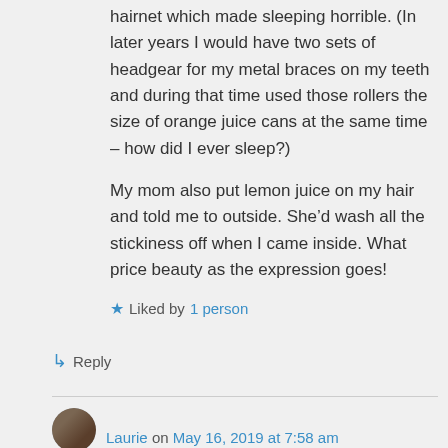hairnet which made sleeping horrible. (In later years I would have two sets of headgear for my metal braces on my teeth and during that time used those rollers the size of orange juice cans at the same time – how did I ever sleep?)
My mom also put lemon juice on my hair and told me to outside. She'd wash all the stickiness off when I came inside. What price beauty as the expression goes!
★ Liked by 1 person
↳ Reply
Laurie on May 16, 2019 at 7:58 am